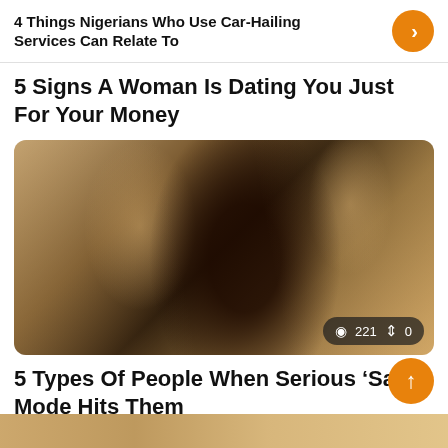4 Things Nigerians Who Use Car-Hailing Services Can Relate To
5 Signs A Woman Is Dating You Just For Your Money
[Figure (photo): A person appearing distressed or crying, with blurred motion background in warm brown tones. Stats overlay shows 221 views and 0 interactions.]
5 Types Of People When Serious ‘Sapa’ Mode Hits Them
[Figure (photo): Partial bottom strip preview of another article image]